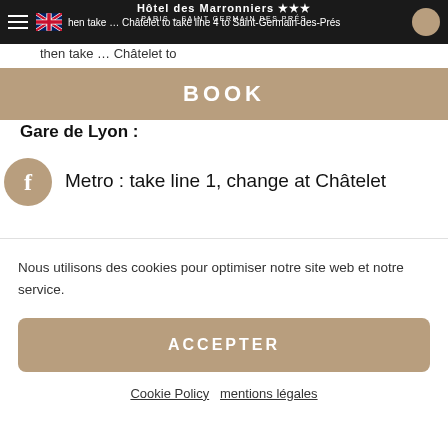Hôtel des Marronniers — PARIS – SAINT GERMAIN DES PRES
then take … Châtelet to take line 4 to Saint-Germain-des-Prés
BOOK
Gare de Lyon :
Metro : take line 1, change at Châtelet
Nous utilisons des cookies pour optimiser notre site web et notre service.
ACCEPTER
Cookie Policy   mentions légales
Bus : 99
Gare du Nord et Gare de l'Est :
Metro : line 4 to Saint-Germain-des-Près
Bus : 39